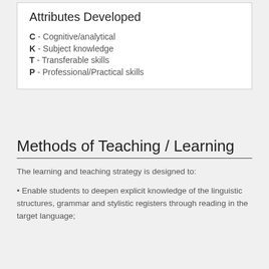Attributes Developed
C - Cognitive/analytical
K - Subject knowledge
T - Transferable skills
P - Professional/Practical skills
Methods of Teaching / Learning
The learning and teaching strategy is designed to:
• Enable students to deepen explicit knowledge of the linguistic structures, grammar and stylistic registers through reading in the target language;